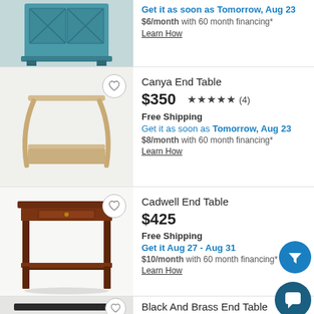[Figure (photo): Partial view of a teal/blue cabinet end table on a gray background]
$6/month with 60 month financing*
Learn How
[Figure (photo): Canya End Table - a light wood two-tier end table on white background]
Canya End Table
$350  ★★★★★ (4)
Free Shipping
Get it as soon as Tomorrow, Aug 23
$8/month with 60 month financing*
Learn How
[Figure (photo): Cadwell End Table - a dark cherry wood end table with one drawer and lower shelf]
Cadwell End Table
$425
Free Shipping
Get it Aug 27 - Aug 31
$10/month with 60 month financing*
Learn How
[Figure (photo): Partial view of a Black And Brass End Table]
Black And Brass End Table